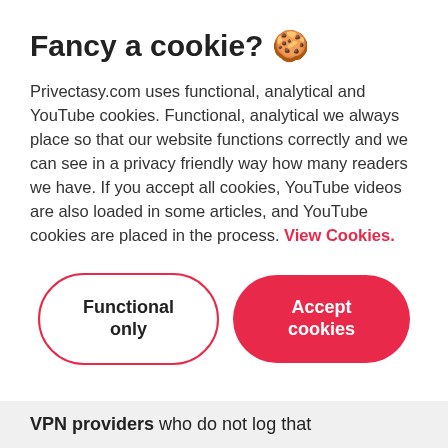Fancy a cookie? 🍪
Privectasy.com uses functional, analytical and YouTube cookies. Functional, analytical we always place so that our website functions correctly and we can see in a privacy friendly way how many readers we have. If you accept all cookies, YouTube videos are also loaded in some articles, and YouTube cookies are placed in the process. View Cookies.
Functional only
Accept cookies
VPN providers who do not log that